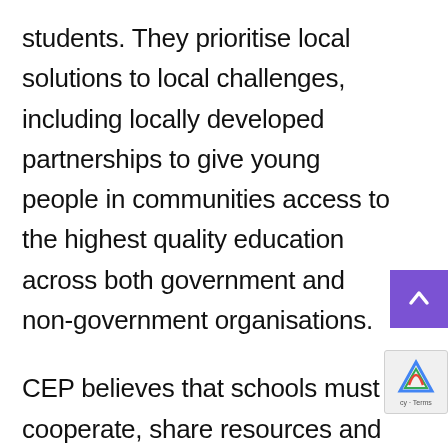students. They prioritise local solutions to local challenges, including locally developed partnerships to give young people in communities access to the highest quality education across both government and non-government organisations.
CEP believes that schools must cooperate, share resources and build networks in their local area. By working together, they can create more opportunities and better outcomes for students. CEP also provides programs across Australia on leaderships, school support and professional development.